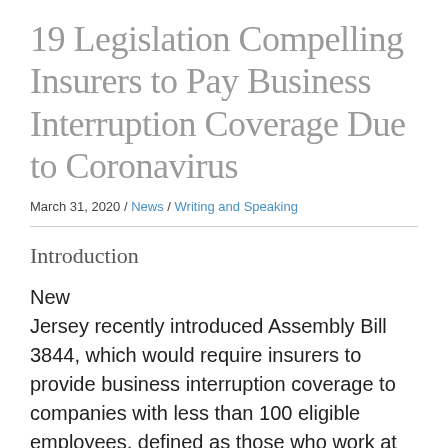19 Legislation Compelling Insurers to Pay Business Interruption Coverage Due to Coronavirus
March 31, 2020 / News / Writing and Speaking
Introduction
New Jersey recently introduced Assembly Bill 3844, which would require insurers to provide business interruption coverage to companies with less than 100 eligible employees, defined as those who work at least 25 hours a week,